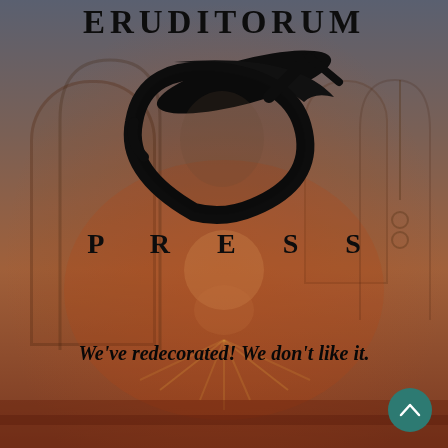[Figure (logo): Eruditorum Press logo page with decorative background showing an inverted fantasy figure scene with warm orange-red tones. Contains 'ERUDITORUM' text at top, a stylized 'EP' calligraphic logo, 'PRESS' text below, and italic tagline at the bottom.]
ERUDITORUM
PRESS
We've redecorated! We don't like it.